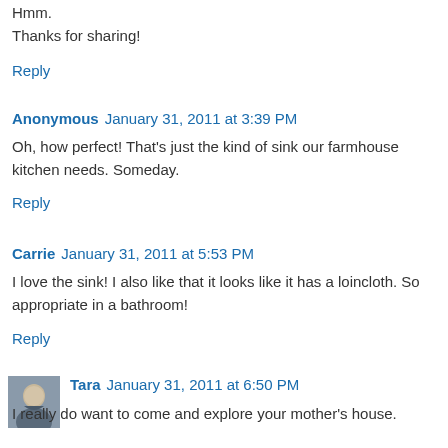Hmm.
Thanks for sharing!
Reply
Anonymous  January 31, 2011 at 3:39 PM
Oh, how perfect! That's just the kind of sink our farmhouse kitchen needs. Someday.
Reply
Carrie  January 31, 2011 at 5:53 PM
I love the sink! I also like that it looks like it has a loincloth. So appropriate in a bathroom!
Reply
Tara  January 31, 2011 at 6:50 PM
I really do want to come and explore your mother's house. It must be full of treasure... on the bathroom...